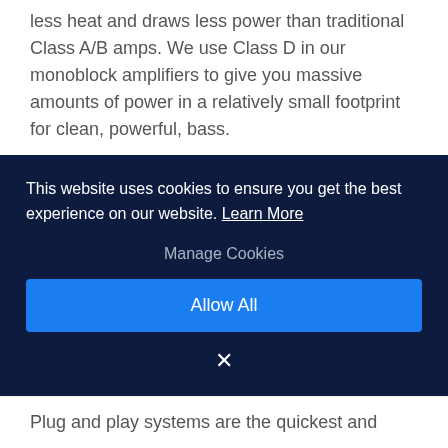less heat and draws less power than traditional Class A/B amps. We use Class D in our monoblock amplifiers to give you massive amounts of power in a relatively small footprint for clean, powerful, bass.
IPX Rating
IPX is a rating standard indicating a product's level of protection against water. It ranges from no protection (IPX0) to water splashing against the enclosure (IPX4) to complete
This website uses cookies to ensure you get the best experience on our website. Learn More
Manage Cookies
Allow All
×
Plug and play systems are the quickest and